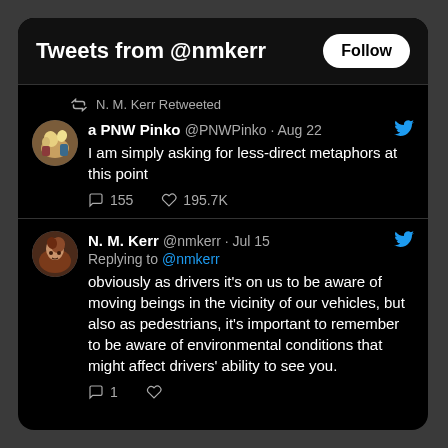Tweets from @nmkerr
N. M. Kerr Retweeted
a PNW Pinko @PNWPinko · Aug 22
I am simply asking for less-direct metaphors at this point
155  195.7K
N. M. Kerr @nmkerr · Jul 15
Replying to @nmkerr
obviously as drivers it's on us to be aware of moving beings in the vicinity of our vehicles, but also as pedestrians, it's important to remember to be aware of environmental conditions that might affect drivers' ability to see you.
1